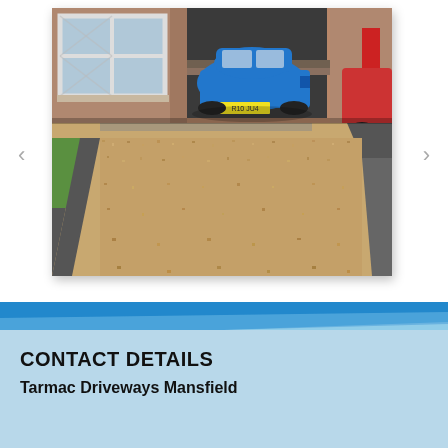[Figure (photo): Photograph of a residential driveway surfaced with golden/tan resin-bound gravel. A blue hatchback car is parked in the garage/carport behind. The house has brick walls and white-framed windows. Green grass visible on the left side. Dark grey edging borders the driveway.]
CONTACT DETAILS
Tarmac Driveways Mansfield